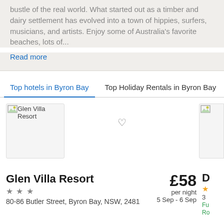bustle of the real world. What started out as a timber and dairy settlement has evolved into a town of hippies, surfers, musicians, and artists. Enjoy some of Australia's favorite beaches, lots of...
Read more
Top hotels in Byron Bay
Top Holiday Rentals in Byron Bay
[Figure (photo): Hotel image placeholder for Glen Villa Resort]
Glen Villa Resort
★★★
80-86 Butler Street, Byron Bay, NSW, 2481
£58 per night 5 Sep - 6 Sep